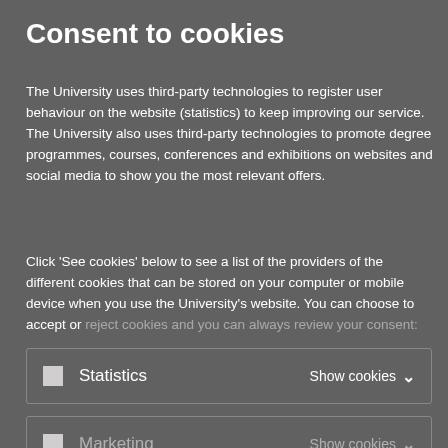Consent to cookies
The University uses third-party technologies to register user behaviour on the website (statistics) to keep improving our service. The University also uses third-party technologies to promote degree programmes, courses, conferences and exhibitions on websites and social media to show you the most relevant offers.
Click 'See cookies' below to see a list of the providers of the different cookies that can be stored on your computer or mobile device when you use the University's website. You can choose to accept or reject cookies and you can always review your consent:
Statistics  Show cookies
Marketing  Show cookies